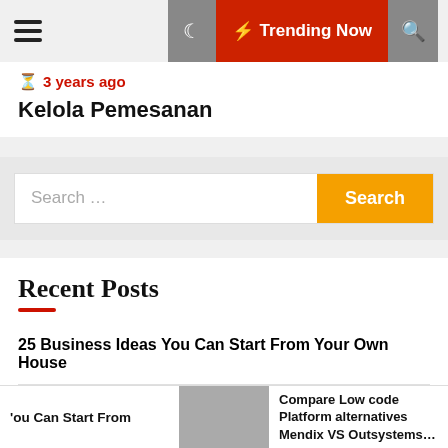Trending Now
3 years ago
Kelola Pemesanan
Search ...
Recent Posts
25 Business Ideas You Can Start From Your Own House
Compare Low code Platform alternatives Mendix VS Outsystems VS Wavemaker.
You Can Start From | Compare Low code Platform alternatives Mendix VS Outsystems...